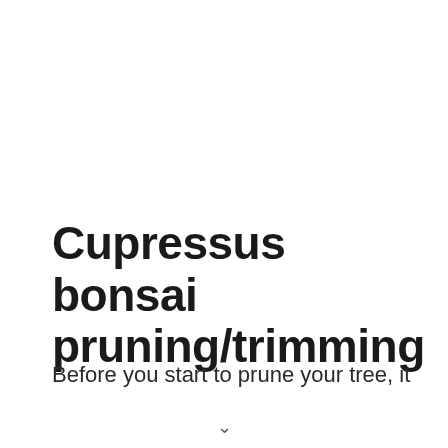Cupressus bonsai pruning/trimming
Before you start to prune your tree, it